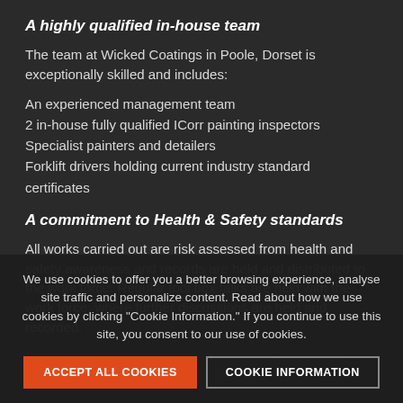A highly qualified in-house team
The team at Wicked Coatings in Poole, Dorset is exceptionally skilled and includes:
An experienced management team
2 in-house fully qualified ICorr painting inspectors
Specialist painters and detailers
Forklift drivers holding current industry standard certificates
A commitment to Health & Safety standards
All works carried out are risk assessed from health and safety awareness and records are held and distributed to the work force. Regular tool box talks are held with the work force, where further discussions are held and recorded.
We use cookies to offer you a better browsing experience, analyse site traffic and personalize content. Read about how we use cookies by clicking "Cookie Information." If you continue to use this site, you consent to our use of cookies.
From the resulting inspection reports and the detailed measurement of the the sub-contractors' applications -